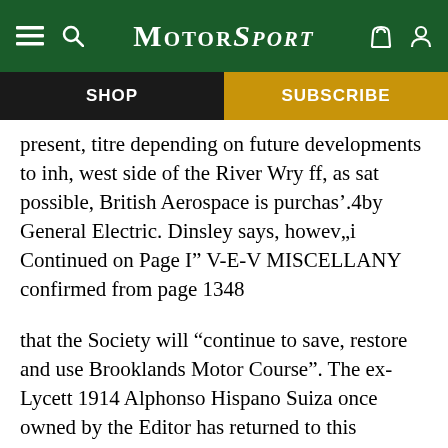MotorSport
SHOP
SUBSCRIBE
present, titre depending on future developments to inh, west side of the River Wry ff, as sat possible, British Aerospace is purchas’.4by General Electric. Dinsley says, howev„i Continued on Page I” V-E-V MISCELLANY confirmed from page 1348
that the Society will “continue to save, restore and use Brooklands Motor Course”. The ex-Lycett 1914 Alphonso Hispano Suiza once owned by the Editor has returned to this country, after being sold at the Smith Collection sale in 1968 to
Uvve Hucke, who used it in the 1980 Paris-Nice Rally. The car, Reg No. NK 1030, is now owned